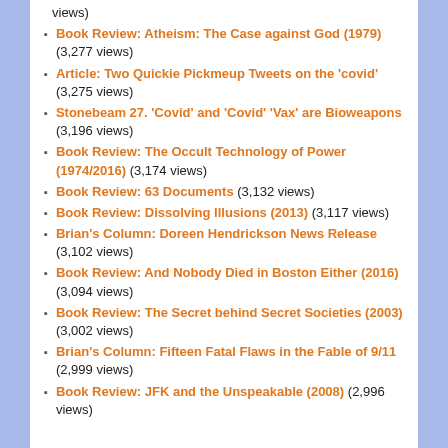views)
Book Review: Atheism: The Case against God (1979) (3,277 views)
Article: Two Quickie Pickmeup Tweets on the 'covid' (3,275 views)
Stonebeam 27. 'Covid' and 'Covid' 'Vax' are Bioweapons (3,196 views)
Book Review: The Occult Technology of Power (1974/2016) (3,174 views)
Book Review: 63 Documents (3,132 views)
Book Review: Dissolving Illusions (2013) (3,117 views)
Brian's Column: Doreen Hendrickson News Release (3,102 views)
Book Review: And Nobody Died in Boston Either (2016) (3,094 views)
Book Review: The Secret behind Secret Societies (2003) (3,002 views)
Brian's Column: Fifteen Fatal Flaws in the Fable of 9/11 (2,999 views)
Book Review: JFK and the Unspeakable (2008) (2,996 views)